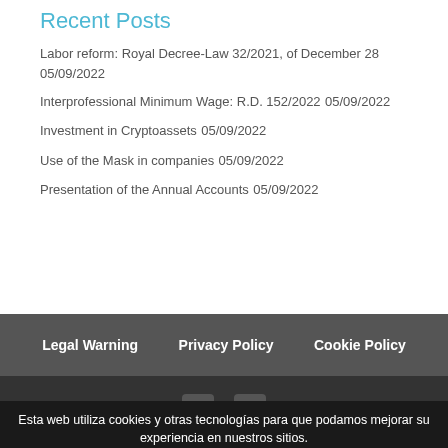Recent Posts
Labor reform: Royal Decree-Law 32/2021, of December 28 05/09/2022
Interprofessional Minimum Wage: R.D. 152/2022 05/09/2022
Investment in Cryptoassets 05/09/2022
Use of the Mask in companies 05/09/2022
Presentation of the Annual Accounts 05/09/2022
Legal Warning   Privacy Policy   Cookie Policy
© Copyright Villajur Advisors 2022
Esta web utiliza cookies y otras tecnologías para que podamos mejorar su experiencia en nuestros sitios.